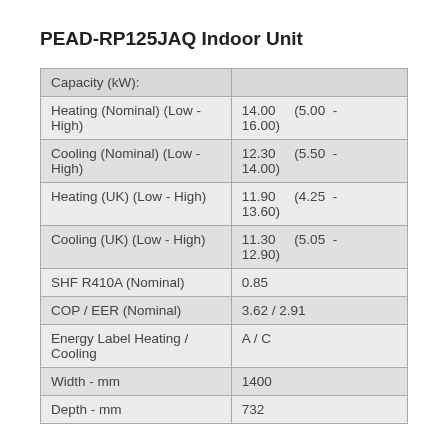PEAD-RP125JAQ Indoor Unit
|  |  |
| --- | --- |
| Capacity (kW): |  |
| Heating (Nominal) (Low - High) | 14.00    (5.00 - 16.00) |
| Cooling (Nominal) (Low - High) | 12.30    (5.50 - 14.00) |
| Heating (UK) (Low - High) | 11.90    (4.25 - 13.60) |
| Cooling (UK) (Low - High) | 11.30    (5.05 - 12.90) |
| SHF R410A (Nominal) | 0.85 |
| COP / EER (Nominal) | 3.62 / 2.91 |
| Energy Label Heating / Cooling | A / C |
| Width - mm | 1400 |
| Depth - mm | 732 |